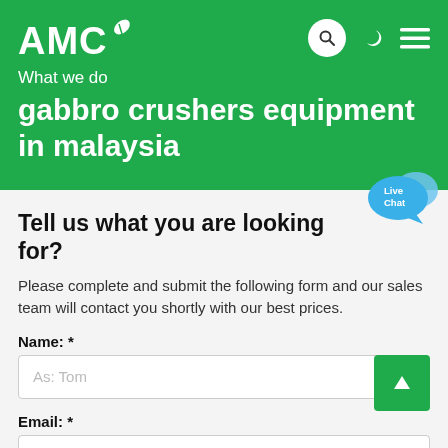AMC
What we do
gabbro crushers equipment in malaysia
Tell us what you are looking for?
Please complete and submit the following form and our sales team will contact you shortly with our best prices.
Name: *
As: Tom
Email: *
As: vip@shanghaimeilan.com
Phone: *